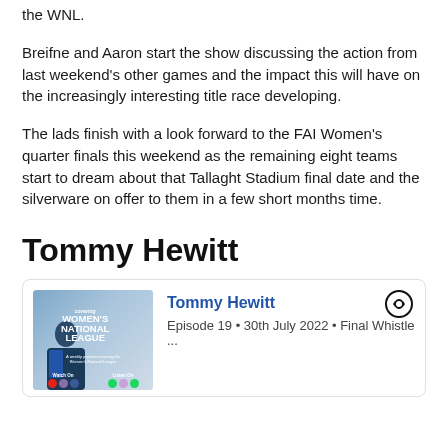the WNL.
Breifne and Aaron start the show discussing the action from last weekend's other games and the impact this will have on the increasingly interesting title race developing.
The lads finish with a look forward to the FAI Women's quarter finals this weekend as the remaining eight teams start to dream about that Tallaght Stadium final date and the silverware on offer to them in a few short months time.
Tommy Hewitt
[Figure (other): Podcast card for Tommy Hewitt featuring Women's National League podcast image, episode info: Episode 19 • 30th July 2022 • Final Whistle ...]